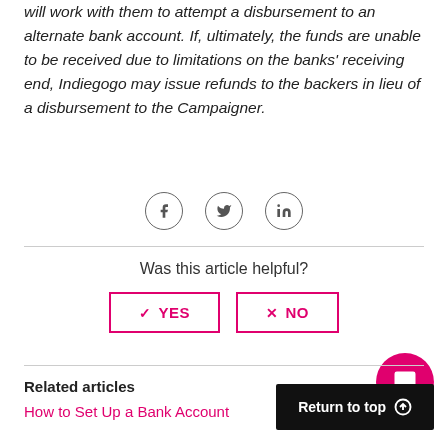will work with them to attempt a disbursement to an alternate bank account. If, ultimately, the funds are unable to be received due to limitations on the banks' receiving end, Indiegogo may issue refunds to the backers in lieu of a disbursement to the Campaigner.
[Figure (other): Social media share icons: Facebook, Twitter, LinkedIn — each in a circle outline]
Was this article helpful?
YES / NO buttons
Related articles
How to Set Up a Bank Account